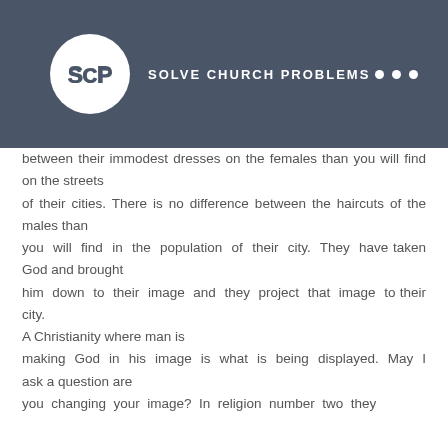SCP SOLVE CHURCH PROBLEMS
between their immodest dresses on the females than you will find on the streets of their cities. There is no difference between the haircuts of the males than you will find in the population of their city. They have taken God and brought him down to their image and they project that image to their city. A Christianity where man is making God in his image is what is being displayed. May I ask a question are you changing your image? In religion number two they